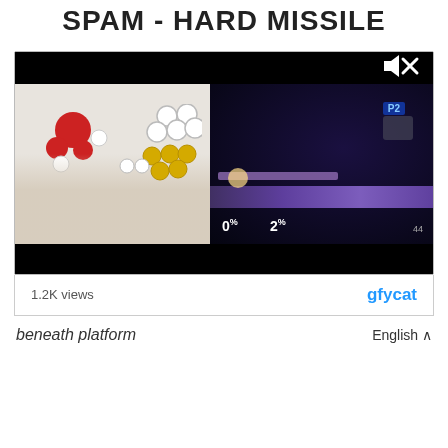SPAM - HARD MISSILE
[Figure (screenshot): A split-screen video thumbnail showing on the left: hands playing on a custom arcade stick controller with red, white, and yellow buttons over a white panel with a Smash Bros logo; on the right: a dark Smash Bros gameplay screen showing two characters with 0% and 2% damage indicators. A mute/speaker icon with X is shown top right. The video player has black bars top and bottom.]
1.2K views
gfycat
beneath platform
English